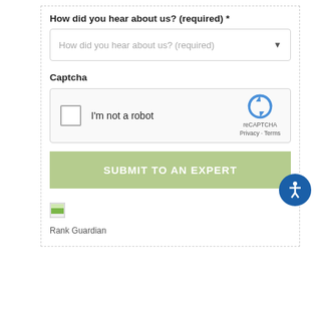How did you hear about us? (required) *
[Figure (screenshot): Dropdown selector with placeholder text 'How did you hear about us? (required)' and a down arrow]
Captcha
[Figure (screenshot): reCAPTCHA widget with checkbox labeled 'I'm not a robot', reCAPTCHA logo, Privacy and Terms links]
[Figure (screenshot): Green button labeled 'SUBMIT TO AN EXPERT']
[Figure (logo): Rank Guardian logo icon (small image with green and white colors)]
Rank Guardian